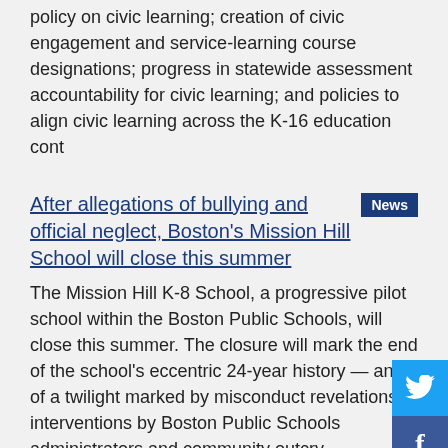policy on civic learning; creation of civic engagement and service-learning course designations; progress in statewide assessment accountability for civic learning; and policies to align civic learning across the K-16 education cont
After allegations of bullying and official neglect, Boston's Mission Hill School will close this summer
The Mission Hill K-8 School, a progressive pilot school within the Boston Public Schools, will close this summer. The closure will mark the end of the school's eccentric 24-year history — and of a twilight marked by misconduct revelations, interventions by Boston Public Schools administrators and community outcry.
The first results from Pittsfield Public Schools' school safety study are in. Here's what you need to know
PITTSFIELD — Consultants hired by the Pittsfield Public Schools to look at school safety issues have started to